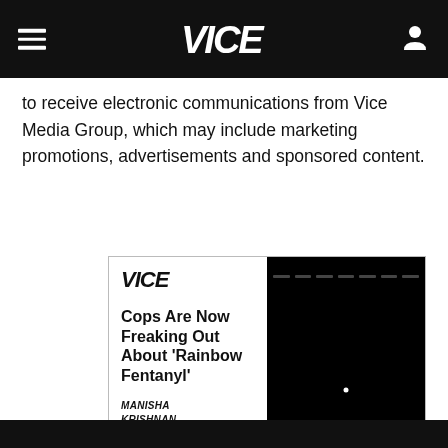VICE
to receive electronic communications from Vice Media Group, which may include marketing promotions, advertisements and sponsored content.
[Figure (screenshot): Vice article card showing Vice logo, article title 'Cops Are Now Freaking Out About Rainbow Fentanyl', author 'MANISHA KRISHNAN', with a black image panel on the right]